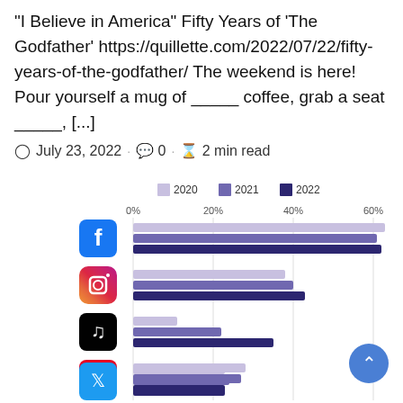“I Believe in America” Fifty Years of ‘The Godfather’ https://quillette.com/2022/07/22/fifty-years-of-the-godfather/ The weekend is here! Pour yourself a mug of _____ coffee, grab a seat _____, [...]
July 23, 2022 · 0 · 2 min read
[Figure (grouped-bar-chart): ]